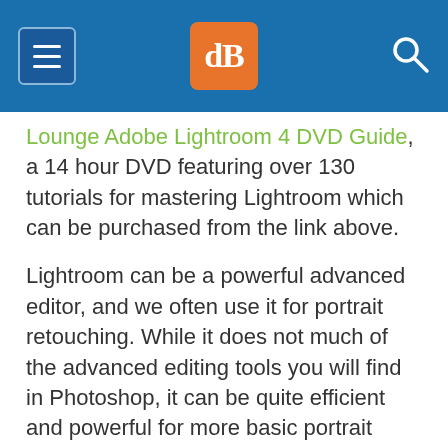dPS logo header with hamburger menu and search icon
Lounge Adobe Lightroom 4 DVD Guide, a 14 hour DVD featuring over 130 tutorials for mastering Lightroom which can be purchased from the link above.
Lightroom can be a powerful advanced editor, and we often use it for portrait retouching. While it does not much of the advanced editing tools you will find in Photoshop, it can be quite efficient and powerful for more basic portrait retouches. The advantage of this is that you do